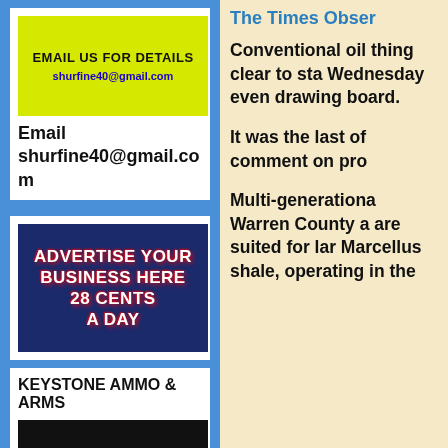[Figure (advertisement): Yellow background ad with text EMAIL US FOR DETAILS and email shurfine40@gmail.com]
Email shurfine40@gmail.com
[Figure (advertisement): Dark blue background ad with text ADVERTISE YOUR BUSINESS HERE 28 CENTS A DAY]
KEYSTONE AMMO & ARMS
[Figure (logo): Keystone logo on black background]
The Times Obser
Conventional oil thing clear to sta Wednesday even drawing board.
It was the last of comment on pro
Multi-generationa Warren County a are suited for lar Marcellus shale, operating in the